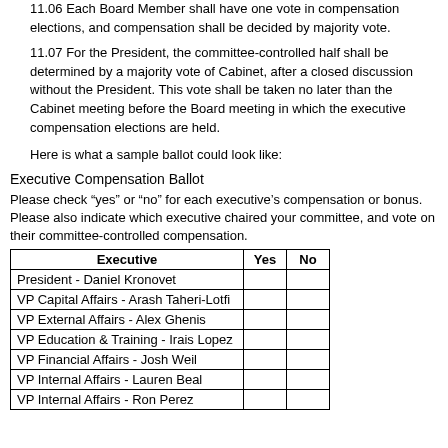11.06 Each Board Member shall have one vote in compensation elections, and compensation shall be decided by majority vote.
11.07 For the President, the committee-controlled half shall be determined by a majority vote of Cabinet, after a closed discussion without the President. This vote shall be taken no later than the Cabinet meeting before the Board meeting in which the executive compensation elections are held.
Here is what a sample ballot could look like:
Executive Compensation Ballot
Please check “yes” or “no” for each executive’s compensation or bonus. Please also indicate which executive chaired your committee, and vote on their committee-controlled compensation.
| Executive | Yes | No |
| --- | --- | --- |
| President - Daniel Kronovet |  |  |
| VP Capital Affairs - Arash Taheri-Lotfi |  |  |
| VP External Affairs - Alex Ghenis |  |  |
| VP Education & Training - Irais Lopez |  |  |
| VP Financial Affairs - Josh Weil |  |  |
| VP Internal Affairs - Lauren Beal |  |  |
| VP Internal Affairs - Ron Perez |  |  |